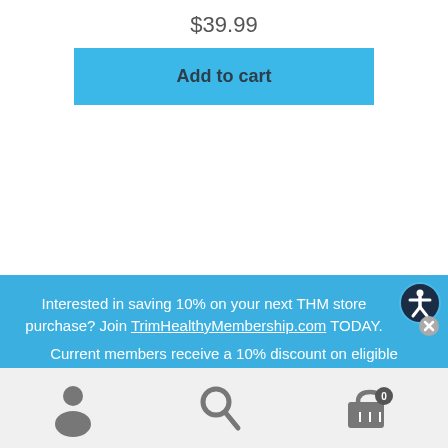$39.99
Add to cart
Interested in saving 10% on your next THM store purchase? Join TrimHealthyMembership.com TODAY. Current members receive a 10% discount on eligible purchases. Already a member? Log In to enjoy your discount now.
[Figure (screenshot): Mobile app bottom navigation bar with user profile icon, search icon, and cart icon with badge showing 0]
[Figure (logo): Accessibility icon button (person in circle) in top right of banner]
[Figure (logo): Help/info icon button (question mark in circle) on left side of member login line]